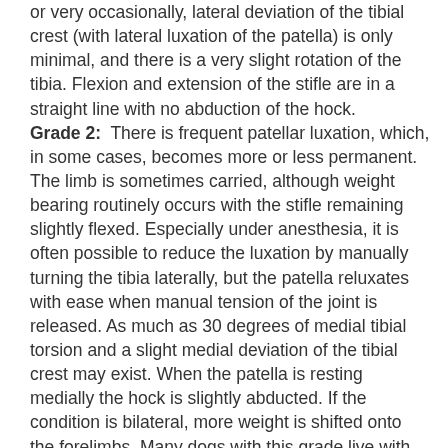or very occasionally, lateral deviation of the tibial crest (with lateral luxation of the patella) is only minimal, and there is a very slight rotation of the tibia. Flexion and extension of the stifle are in a straight line with no abduction of the hock. Grade 2: There is frequent patellar luxation, which, in some cases, becomes more or less permanent. The limb is sometimes carried, although weight bearing routinely occurs with the stifle remaining slightly flexed. Especially under anesthesia, it is often possible to reduce the luxation by manually turning the tibia laterally, but the patella reluxates with ease when manual tension of the joint is released. As much as 30 degrees of medial tibial torsion and a slight medial deviation of the tibial crest may exist. When the patella is resting medially the hock is slightly abducted. If the condition is bilateral, more weight is shifted onto the forelimbs. Many dogs with this grade live with the condition reasonably well for many years, but the constant luxation of the patella over the medial trochlear ridge of the trochlea causes erosion of the articulating surface of the patella and also the proximal